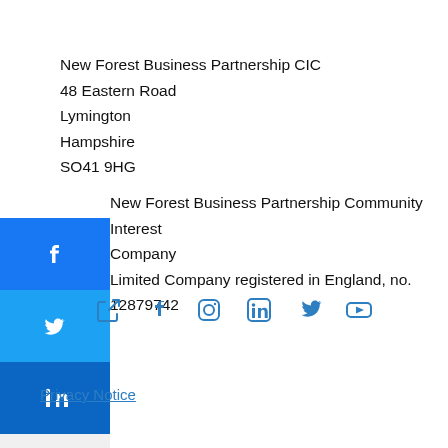New Forest Business Partnership CIC
48 Eastern Road
Lymington
Hampshire
SO41 9HG
New Forest Business Partnership Community Interest Company
Limited Company registered in England, no. 12879742
[Figure (infographic): Social media share sidebar with Facebook (blue), Twitter (light blue), LinkedIn (dark blue) icon buttons, and a plus/expand button]
[Figure (infographic): Row of social media icons: email/link, Facebook, Instagram, LinkedIn, Twitter, YouTube]
Privacy Notice